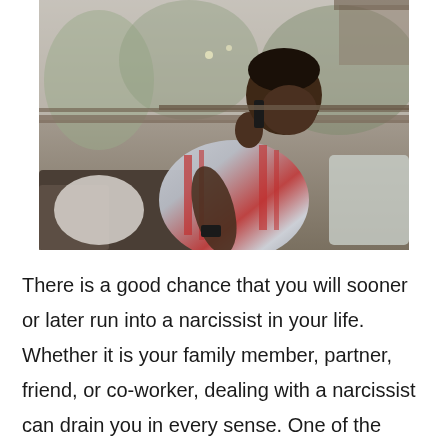[Figure (photo): A man sitting outdoors on a couch, hunched over with his head bowed, holding a phone to his ear. He is wrapped in a striped blanket. Background shows trees and outdoor furniture.]
There is a good chance that you will sooner or later run into a narcissist in your life. Whether it is your family member, partner, friend, or co-worker, dealing with a narcissist can drain you in every sense. One of the significant consequences of narcissism is the